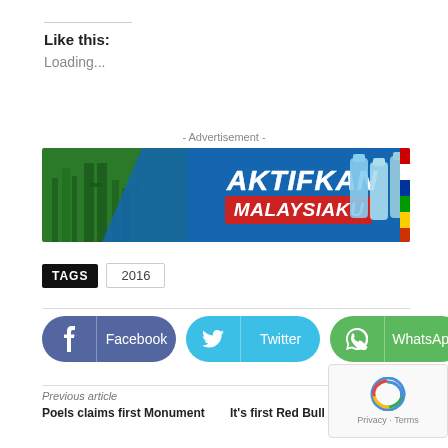Like this:
Loading...
- Advertisement -
[Figure (illustration): Aktifkan Malaysiaku advertisement banner with green city skyline on left, blue background with bold white and red text 'AKTIFKAN MALAYSIAKU' in center, and water bottles on right.]
TAGS  2016
[Figure (logo): Facebook share button (dark blue/purple rounded pill)]
[Figure (logo): Twitter share button (cyan rounded pill)]
[Figure (logo): WhatsApp share button (green rounded pill)]
Previous article
Poels claims first Monument
Next article
It's first Red Bull Air Race win